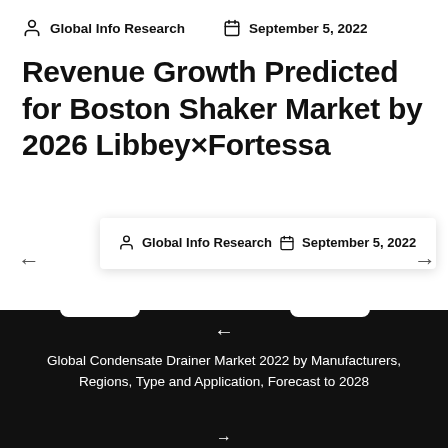Global Info Research   September 5, 2022
Revenue Growth Predicted for Boston Shaker Market by 2026 Libbey×Fortessa
Global Info Research   September 5, 2022
←
Global Condensate Drainer Market 2022 by Manufacturers, Regions, Type and Application, Forecast to 2028
→